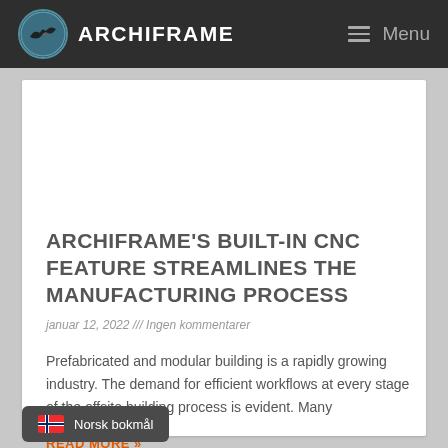ARCHIFRAME — Menu
ARCHIFRAME'S BUILT-IN CNC FEATURE STREAMLINES THE MANUFACTURING PROCESS
januar 12, 2022 /// Ingen kommentarer
Prefabricated and modular building is a rapidly growing industry. The demand for efficient workflows at every stage of the offsite building process is evident. Many
READ MORE »
Norsk bokmål